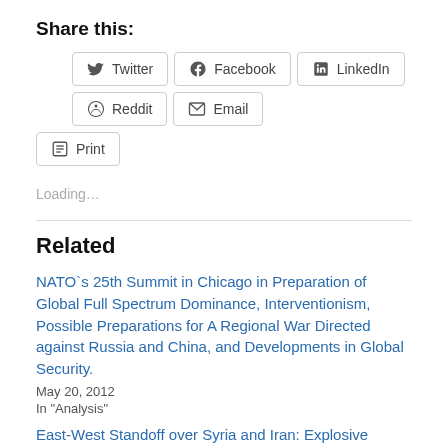Share this:
Twitter
Facebook
LinkedIn
Reddit
Email
Print
Loading...
Related
NATO`s 25th Summit in Chicago in Preparation of Global Full Spectrum Dominance, Interventionism, Possible Preparations for A Regional War Directed against Russia and China, and Developments in Global Security.
May 20, 2012
In "Analysis"
East-West Standoff over Syria and Iran: Explosive Diplomacy and Brinkmanship at the Brink of World War III.